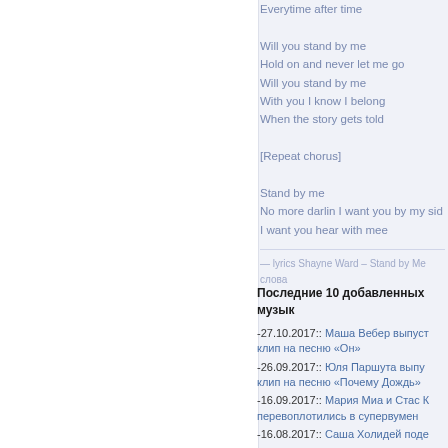Everytime after time

Will you stand by me
Hold on and never let me go
Will you stand by me
With you I know I belong
When the story gets told

[Repeat chorus]

Stand by me
No more darlin I want you by my side
I want you hear with mee
— lyrics Shayne Ward – Stand by Me слова
Последние 10 добавленных музык
-27.10.2017:: Маша Вебер выпуст клип на песню «Он»
-26.09.2017:: Юля Паршута выпу клип на песню «Почему Дождь»
-16.09.2017:: Мария Миа и Стас К перевоплотились в супервумен
-16.08.2017:: Саша Холидей поде поклонниками новым синглом « новостью о будущем ребенке!
-23.05.2017:: Юля Паршута выпу «Навсегда»
-19.04.2017:: Юлия Паршута а